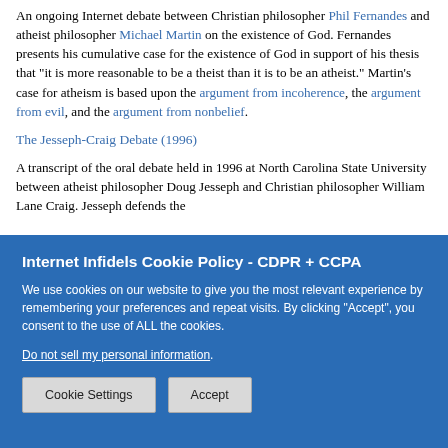An ongoing Internet debate between Christian philosopher Phil Fernandes and atheist philosopher Michael Martin on the existence of God. Fernandes presents his cumulative case for the existence of God in support of his thesis that "it is more reasonable to be a theist than it is to be an atheist." Martin's case for atheism is based upon the argument from incoherence, the argument from evil, and the argument from nonbelief.
The Jesseph-Craig Debate (1996)
A transcript of the oral debate held in 1996 at North Carolina State University between atheist philosopher Doug Jesseph and Christian philosopher William Lane Craig. Jesseph defends the
[Figure (screenshot): Cookie consent overlay banner with blue background. Title: 'Internet Infidels Cookie Policy - CDPR + CCPA'. Body text about cookie usage. Link: 'Do not sell my personal information'. Two buttons: 'Cookie Settings' and 'Accept'.]